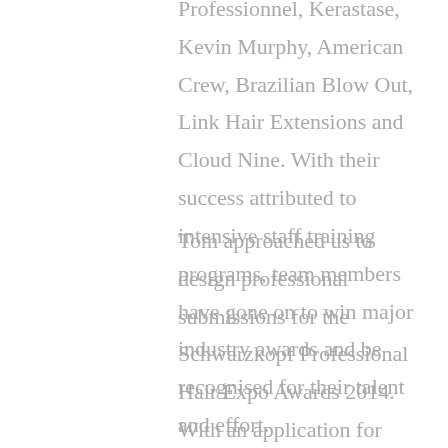Professionnel, Kerastase, Kevin Murphy, American Crew, Brazilian Blow Out, Link Hair Extensions and Cloud Nine. With their success attributed to intensive staff training programs, team members have gone on to win major industry awards and be recognised for their talent and effort.
Tom approached us to design professional submissions for the Schwarzkopf Professional Hair Expo Awards 2014. With an application for Colour Technician of the Year Award for Danielle Solier and one for Emerging Hairdresser of the Year Award for Jamie